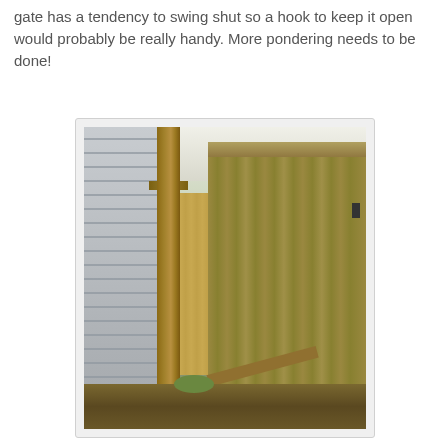gate has a tendency to swing shut so a hook to keep it open would probably be really handy. More pondering needs to be done!
[Figure (photo): Photograph of a wooden fence gate between a house with gray vinyl siding and a wooden fence. The gate is open at an angle, showing a narrow passage between the house and fence. A vertical wooden post is visible on the left, and the fence continues into the background. The ground shows dirt and a patch of grass.]